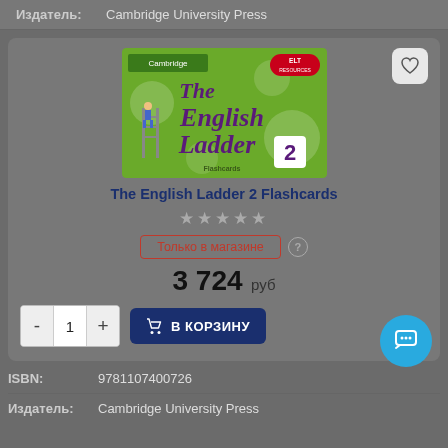Издатель:   Cambridge University Press
[Figure (photo): Book cover of The English Ladder 2 Flashcards published by Cambridge, green background with purple stylized text]
The English Ladder 2 Flashcards
★★★★★ (stars rating, grey/empty)
Только в магазине
3 724 руб
- 1 + В КОРЗИНУ
ISBN:   9781107400726
Издатель:   Cambridge University Press